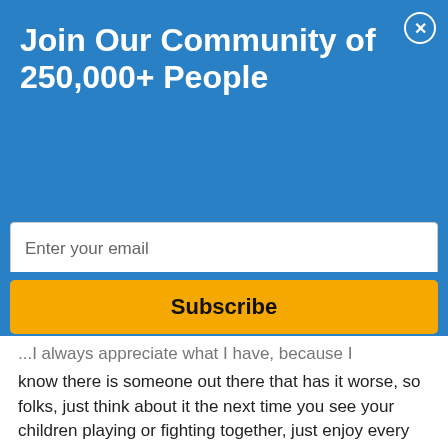Join Our Community of 250,000+ People
Enter your email
Subscribe
...know there is someone out there that has it worse, so folks, just think about it the next time you see your children playing or fighting together, just enjoy every moment of it, because some may never get the opportunity to see and experience just that....
Happy Mother's Day to all the Great Moms out there and God bless!!❤️💐